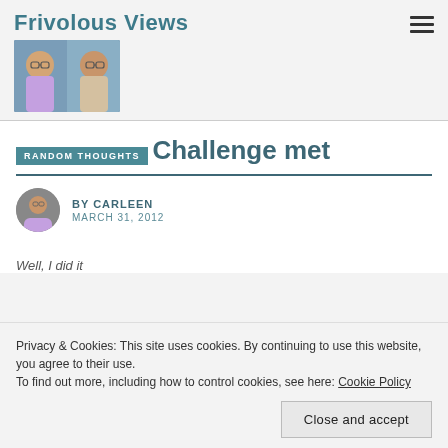Frivolous Views
[Figure (photo): Two women smiling in a photo used as site header image]
RANDOM THOUGHTS
Challenge met
BY CARLEEN
MARCH 31, 2012
Well, I did it
Privacy & Cookies: This site uses cookies. By continuing to use this website, you agree to their use.
To find out more, including how to control cookies, see here: Cookie Policy